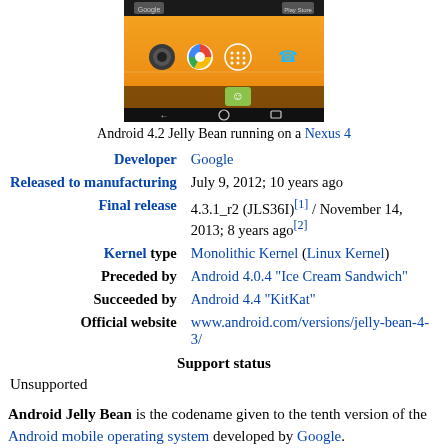[Figure (screenshot): Android 4.2 Jelly Bean home screen running on a Nexus 4, showing Google and Play Store icons, camera, Chrome, app drawer, messaging, and phone icons, with navigation bar at bottom]
Android 4.2 Jelly Bean running on a Nexus 4
| Developer | Google |
| Released to manufacturing | July 9, 2012; 10 years ago |
| Final release | 4.3.1_r2 (JLS36I)[1] / November 14, 2013; 8 years ago[2] |
| Kernel type | Monolithic Kernel (Linux Kernel) |
| Preceded by | Android 4.0.4 "Ice Cream Sandwich" |
| Succeeded by | Android 4.4 "KitKat" |
| Official website | www.android.com/versions/jelly-bean-4-3/ |
| Support status |  |
|  | Unsupported |
Android Jelly Bean is the codename given to the tenth version of the Android mobile operating system developed by Google.